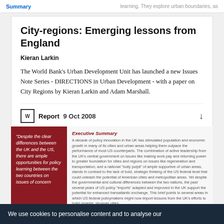Summary | learning. They explore urban boundaries, as
City-regions: Emerging lessons from England
Kieran Larkin
The World Bank's Urban Development Unit has launched a new Issues Note Series - DIRECTIONS in Urban Development - with a paper on City Regions by Kieran Larkin and Adam Marshall.
Report  9 Oct 2008
[Figure (screenshot): Preview of report document showing red quote panel, Executive Summary and Introduction sections]
We use cookies to personalise content and to analyse our